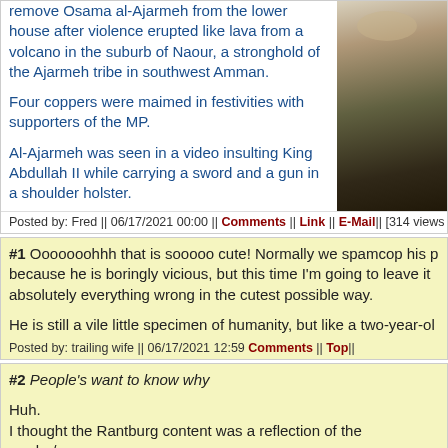remove Osama al-Ajarmeh from the lower house after violence erupted like lava from a volcano in the suburb of Naour, a stronghold of the Ajarmeh tribe in southwest Amman.

Four coppers were maimed in festivities with supporters of the MP.

Al-Ajarmeh was seen in a video insulting King Abdullah II while carrying a sword and a gun in a shoulder holster.
Posted by: Fred || 06/17/2021 00:00 || Comments || Link || E-Mail|| [314 views]
[Figure (photo): Crowd scene photo, partially visible on the right side]
#1  Ooooooohhh that is sooooo cute! Normally we spamcop his p because he is boringly vicious, but this time I'm going to leave it absolutely everything wrong in the cutest possible way.

He is still a vile little specimen of humanity, but like a two-year-ol
Posted by: trailing wife || 06/17/2021 12:59 Comments || Top||
#2  People's want to know why

Huh.
I thought the Rantburg content was a reflection of the reader/com
Posted by: Skidmark || 06/17/2021 12:29 Comments || Top||